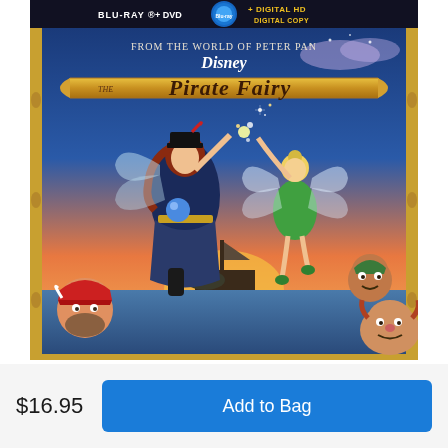[Figure (photo): Disney The Pirate Fairy Blu-ray + DVD + Digital HD product cover. Features animated characters including two fairies (one in pirate outfit, one in green dress - Tinker Bell) and comic pirate characters. Gold ornate border with 'FROM THE WORLD OF PETER PAN' and 'Disney The Pirate Fairy' title on a scroll banner. Top banner shows BLU-RAY + DVD + DIGITAL HD DIGITAL COPY logos on dark background.]
$16.95
Add to Bag